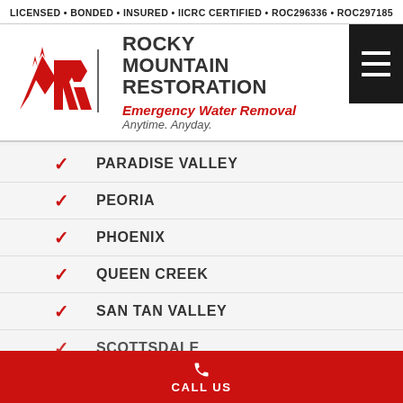LICENSED • BONDED • INSURED • IICRC CERTIFIED • ROC296336 • ROC297185
[Figure (logo): Rocky Mountain Restoration logo with stylized RMR mountain graphic in red, company name in dark gray, and tagline 'Emergency Water Removal Anytime. Anyday.' in red and gray italic text. Hamburger menu icon on right.]
PARADISE VALLEY
PEORIA
PHOENIX
QUEEN CREEK
SAN TAN VALLEY
SCOTTSDALE
CALL US